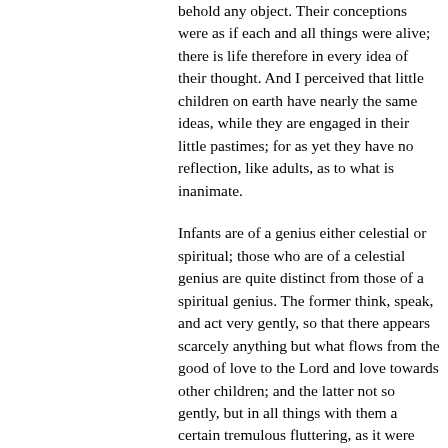behold any object. Their conceptions were as if each and all things were alive; there is life therefore in every idea of their thought. And I perceived that little children on earth have nearly the same ideas, while they are engaged in their little pastimes; for as yet they have no reflection, like adults, as to what is inanimate.
Infants are of a genius either celestial or spiritual; those who are of a celestial genius are quite distinct from those of a spiritual genius. The former think, speak, and act very gently, so that there appears scarcely anything but what flows from the good of love to the Lord and love towards other children; and the latter not so gently, but in all things with them a certain tremulous fluttering, as it were (quoddam quasi alatum vibratile), is manifest. It also appears from their displeasure, and from other indications. (ibid. 338, 339)
The innocence of infants is not genuine innocence, because it is as yet without wisdom. Genuine innocence is wisdom